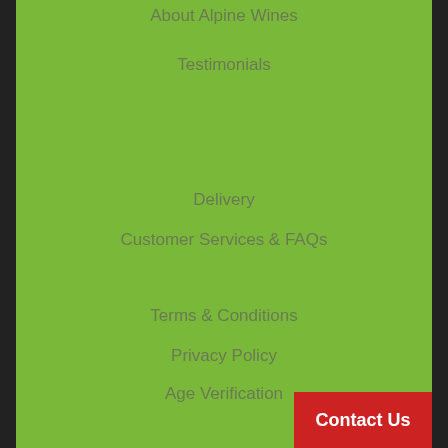About Alpine Wines
Testimonials
Delivery
Customer Services & FAQs
Terms & Conditions
Privacy Policy
Age Verification
Phone
020 31513454
Email
Full Contact Form
Contact Us